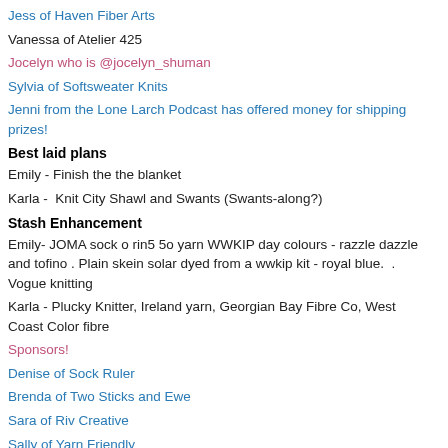Jess of Haven Fiber Arts
Vanessa of Atelier 425
Jocelyn who is @jocelyn_shuman
Sylvia of Softsweater Knits
Jenni from the Lone Larch Podcast has offered money for shipping prizes!
Best laid plans
Emily - Finish the the blanket
Karla -  Knit City Shawl and Swants (Swants-along?)
Stash Enhancement
Emily- JOMA sock o rin5 5o yarn WWKIP day colours - razzle dazzle and tofino . Plain skein solar dyed from a wwkip kit - royal blue.  . Vogue knitting
Karla - Plucky Knitter, Ireland yarn, Georgian Bay Fibre Co, West Coast Color fibre
Sponsors!
Denise of Sock Ruler
Brenda of Two Sticks and Ewe
Sara of Riv Creative
Sally of Yarn Friendly
Kristan McIntyre